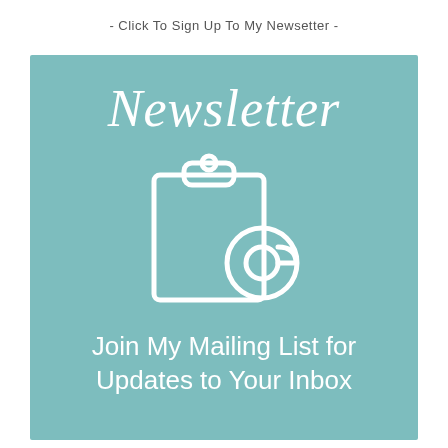- Click To Sign Up To My Newsetter -
Newsletter
[Figure (illustration): White outline icon of a clipboard with an @ symbol overlapping at the bottom right, on a teal background]
Join My Mailing List for Updates to Your Inbox